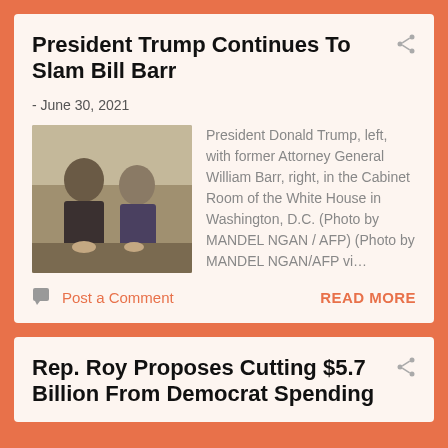President Trump Continues To Slam Bill Barr
- June 30, 2021
[Figure (photo): President Donald Trump and former Attorney General William Barr seated together]
President Donald Trump, left, with former Attorney General William Barr, right, in the Cabinet Room of the White House in Washington, D.C. (Photo by MANDEL NGAN / AFP) (Photo by MANDEL NGAN/AFP vi…
Post a Comment
READ MORE
Rep. Roy Proposes Cutting $5.7 Billion From Democrat Spending